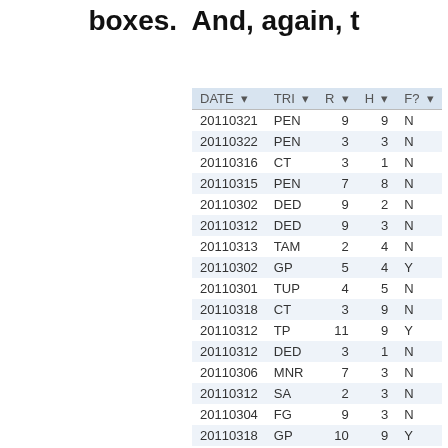boxes.  And, again, t
| DATE | TRI | R | H | F? |
| --- | --- | --- | --- | --- |
| 20110321 | PEN | 9 | 9 | N |
| 20110322 | PEN | 3 | 3 | N |
| 20110316 | CT | 3 | 1 | N |
| 20110315 | PEN | 7 | 8 | N |
| 20110302 | DED | 9 | 2 | N |
| 20110312 | DED | 9 | 3 | N |
| 20110313 | TAM | 2 | 4 | N |
| 20110302 | GP | 5 | 4 | Y |
| 20110301 | TUP | 4 | 5 | N |
| 20110318 | CT | 3 | 9 | N |
| 20110312 | TP | 11 | 9 | Y |
| 20110312 | DED | 3 | 1 | N |
| 20110306 | MNR | 7 | 3 | N |
| 20110312 | SA | 2 | 3 | N |
| 20110304 | FG | 9 | 3 | N |
| 20110318 | GP | 10 | 9 | Y |
| 20110314 | TUP | 3 | 1 | N |
| 20110319 | SA | 10 | 10 | N |
| 20110317 | TP | 9 | 3 | N |
| 20110321 | PEN | 2 | 6 | N |
| 20110312 | DED | 4 | 5 | N |
| 20110319 | MAW | 8 | 12 | Y |